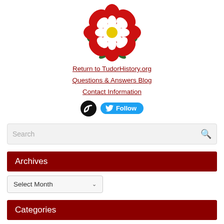[Figure (logo): Tudor Rose logo — red rose with white inner petals, yellow center, green leaves]
Return to TudorHistory.org
Questions & Answers Blog
Contact Information
[Figure (infographic): RSS feed icon (black circle with white wifi signal) and Twitter Follow button (blue rounded rectangle with bird icon)]
Search
Archives
Select Month
Categories